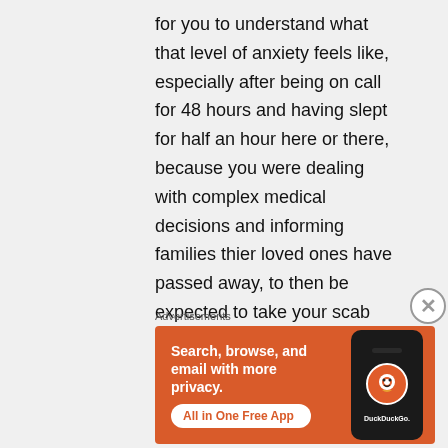for you to understand what that level of anxiety feels like, especially after being on call for 48 hours and having slept for half an hour here or there, because you were dealing with complex medical decisions and informing families thier loved ones have passed away, to then be expected to take your scab that keeps falling of in the shower that you are just so worried about seriously.

So why don't you try looking from a
[Figure (other): DuckDuckGo advertisement banner with orange background showing 'Search, browse, and email with more privacy. All in One Free App' with a smartphone displaying the DuckDuckGo duck logo]